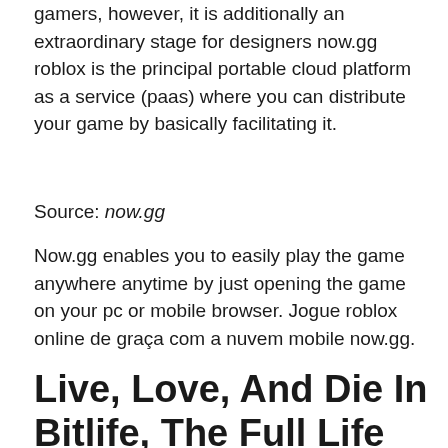gamers, however, it is additionally an extraordinary stage for designers now.gg roblox is the principal portable cloud platform as a service (paas) where you can distribute your game by basically facilitating it.
Source: now.gg
Now.gg enables you to easily play the game anywhere anytime by just opening the game on your pc or mobile browser. Jogue roblox online de graça com a nuvem mobile now.gg.
Live, Love, And Die In Bitlife, The Full Life Simulation Title By